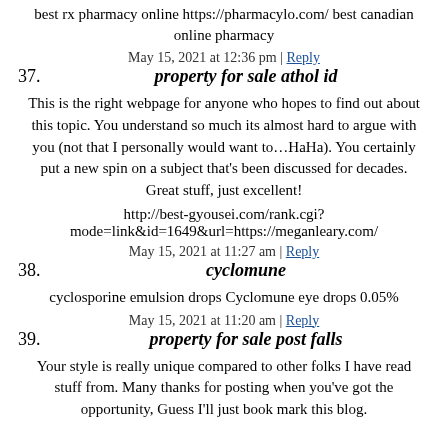best rx pharmacy online https://pharmacylo.com/ best canadian online pharmacy
May 15, 2021 at 12:36 pm | Reply
37. property for sale athol id
This is the right webpage for anyone who hopes to find out about this topic. You understand so much its almost hard to argue with you (not that I personally would want to…HaHa). You certainly put a new spin on a subject that's been discussed for decades. Great stuff, just excellent!
http://best-gyousei.com/rank.cgi?mode=link&id=1649&url=https://meganleary.com/
May 15, 2021 at 11:27 am | Reply
38. cyclomune
cyclosporine emulsion drops Cyclomune eye drops 0.05%
May 15, 2021 at 11:20 am | Reply
39. property for sale post falls
Your style is really unique compared to other folks I have read stuff from. Many thanks for posting when you've got the opportunity, Guess I'll just book mark this blog.